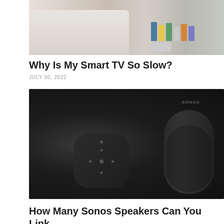[Figure (photo): Top portion of a living room photo showing a white sofa and a bookshelf with colorful books in the background]
Why Is My Smart TV So Slow?
JULY 30, 2022
[Figure (photo): Two black Sonos smart speakers on a dark background — a square Sonos One SL device and a cylindrical Sonos One speaker with mesh grille, with SONOS branding visible]
How Many Sonos Speakers Can You Link